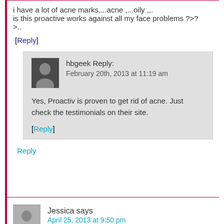i have a lot of acne marks,...acne ,...oily ,,.
is this proactive works against all my face problems ?>?>..
[Reply]
hbgeek Reply:
February 20th, 2013 at 11:19 am
Yes, Proactiv is proven to get rid of acne. Just check the testimonials on their site.
[Reply]
Reply
Jessica says
April 25, 2013 at 9:50 pm